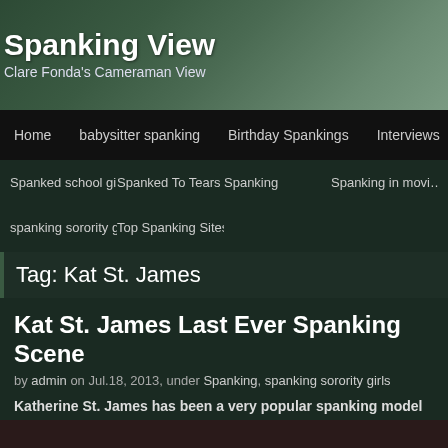Spanking View
Clare Fonda's Cameraman View
Home | babysitter spanking | Birthday Spankings | Interviews | mo…
Spanked school girls | Spanked To Tears | Spanking | Spanking in movi… | spanking sorority girls | Top Spanking Sites
Tag: Kat St. James
Kat St. James Last Ever Spanking Scene
by admin on Jul.18, 2013, under Spanking, spanking sorority girls
Katherine St. James has been a very popular spanking model for quite s… year she semi-retired, giving me the honor of being exclusive to my sites t… retired. Her last scene shot is now up on Spanking Sorority Girls.